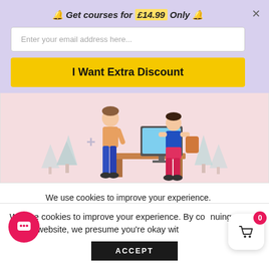🔔 Get courses for £14.99 Only 🔔
Enter your email address here...
I Want Extra Discount
[Figure (illustration): Two cartoon figures: a standing person in blue pants and a seated person in red pants, at a desk with a computer monitor, decorative trees in background, on a pink background.]
CompTIA A+ (220-1101 & 220-1102)
We use cookies to improve your experience. By continuing to use this website, we presume you're okay with
ACCEPT